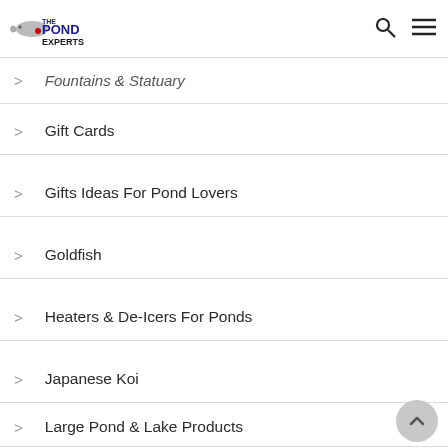The Pond Experts
Fountains & Statuary
Gift Cards
Gifts Ideas For Pond Lovers
Goldfish
Heaters & De-Icers For Ponds
Japanese Koi
Large Pond & Lake Products
LED Pond Lighting